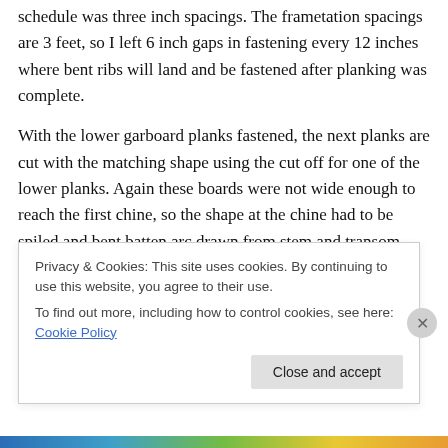schedule was three inch spacings. The frametation spacings are 3 feet, so I left 6 inch gaps in fastening every 12 inches where bent ribs will land and be fastened after planking was complete.
With the lower garboard planks fastened, the next planks are cut with the matching shape using the cut off for one of the lower planks. Again these boards were not wide enough to reach the first chine, so the shape at the chine had to be spiled and bent batten arc drawn from stem and transom marks as far as they would go. The top edge was then cut straight on the 45. Because of the differing
Privacy & Cookies: This site uses cookies. By continuing to use this website, you agree to their use.
To find out more, including how to control cookies, see here: Cookie Policy